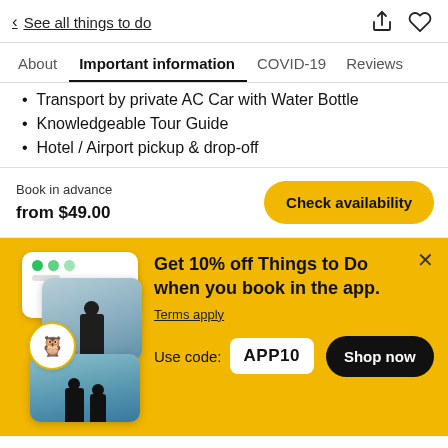< See all things to do
About | Important information | COVID-19 | Reviews
Transport by private AC Car with Water Bottle
Knowledgeable Tour Guide
Hotel / Airport pickup & drop-off
Book in advance
from $49.00
Check availability
Get 10% off Things to Do when you book in the app.
Terms apply
Use code: APP10
Shop now